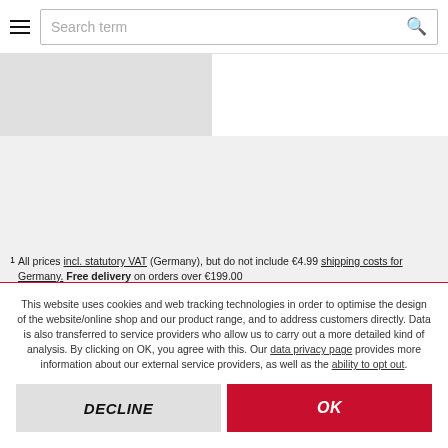Search term
[Figure (photo): Product image area, light grey background]
1 All prices incl. statutory VAT (Germany), but do not include €4.99 shipping costs for Germany. Free delivery on orders over €199.00
This website uses cookies and web tracking technologies in order to optimise the design of the website/online shop and our product range, and to address customers directly. Data is also transferred to service providers who allow us to carry out a more detailed kind of analysis. By clicking on OK, you agree with this. Our data privacy page provides more information about our external service providers, as well as the ability to opt out.
DECLINE
OK